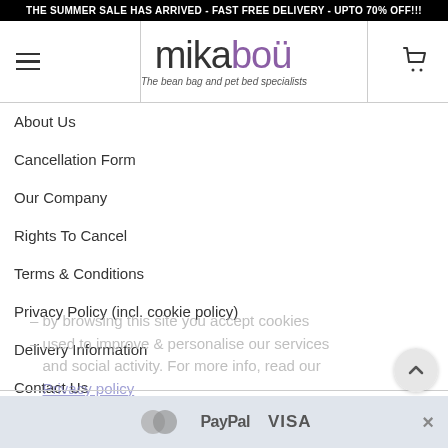THE SUMMER SALE HAS ARRIVED - FAST FREE DELIVERY - UPTO 70% OFF!!!
[Figure (logo): Mikabou logo with hamburger menu icon, brand name 'mikaboü' in grey and purple, tagline 'The bean bag and pet bed specialists', and shopping cart icon]
About Us
Cancellation Form
Our Company
Rights To Cancel
Terms & Conditions
Privacy Policy (incl. cookie policy)
Delivery Information
Contact Us
by browsing this site you accept cookies used to improve & personalise our services and social activity. For more info, read our Privacy policy
© Mika Boü
[Figure (other): Payment icons: Mastercard, PayPal, VISA logos in a light grey footer bar]